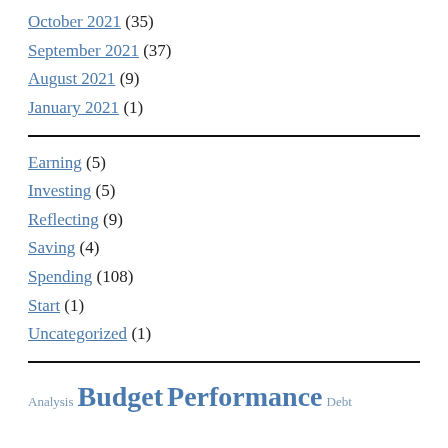October 2021 (35)
September 2021 (37)
August 2021 (9)
January 2021 (1)
Earning (5)
Investing (5)
Reflecting (9)
Saving (4)
Spending (108)
Start (1)
Uncategorized (1)
Analysis Budget Performance Debt